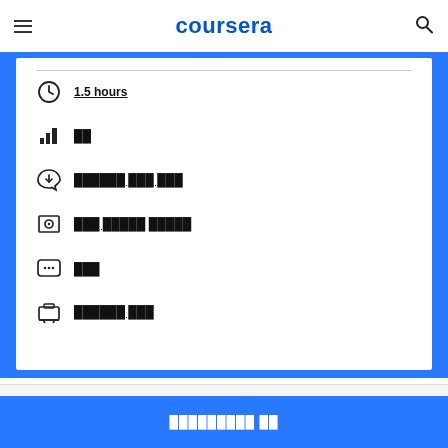coursera
1.5 hours
██
██████ ███ ███
███ █████ █████
███
██████ ███
█████████ ██